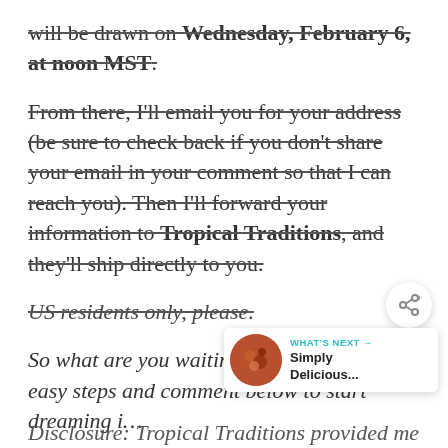will be drawn on Wednesday, February 6, at noon MST.
From there, I'll email you for your address (be sure to check back if you don't share your email in your comment so that I can reach you). Then I'll forward your information to Tropical Traditions, and they'll ship directly to you.
US residents only, please.
So what are you waiting for? Follow the easy steps and comment below to start dreaming i…
[Figure (other): Share button icon (circular button with network share icon and plus sign)]
[Figure (other): WHAT'S NEXT overlay card with circular food image thumbnail and text 'Simply Delicious...']
Disclosure: Tropical Traditions provided me with